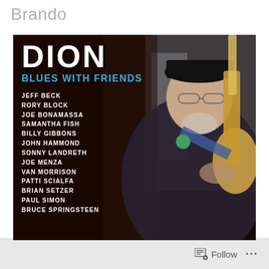Brando
[Figure (photo): Album cover for 'Dion - Blues with Friends'. A man wearing a black cap and glasses holds an electric guitar against a dark background. On the left side of the cover, the text reads: DION, BLUES WITH FRIENDS, and a list of featured artists: Jeff Beck, Rory Block, Joe Bonamassa, Samantha Fish, Billy Gibbons, John Hammond, Sonny Landreth, Joe Menza, Van Morrison, Patti Scialfa, Brian Setzer, Paul Simon, Bruce Springsteen, and more.]
Follow ...